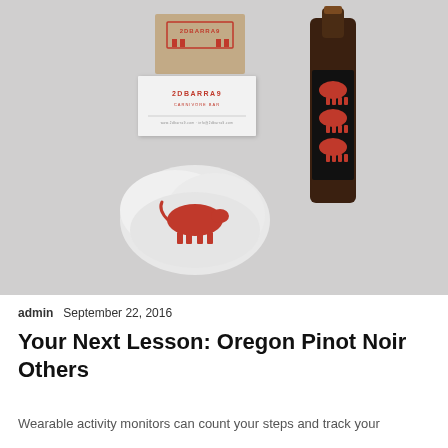[Figure (photo): Product branding photo showing kraft paper card, white business card with '2DBARRA9' branding, a white wrapped meat package with red cow illustration, and a dark beer/wine bottle with stacked red cow silhouettes on black label, all on light grey background.]
admin   September 22, 2016
Your Next Lesson: Oregon Pinot Noir Others
Wearable activity monitors can count your steps and track your